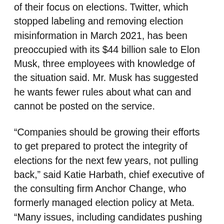of their focus on elections. Twitter, which stopped labeling and removing election misinformation in March 2021, has been preoccupied with its $44 billion sale to Elon Musk, three employees with knowledge of the situation said. Mr. Musk has suggested he wants fewer rules about what can and cannot be posted on the service.
“Companies should be growing their efforts to get prepared to protect the integrity of elections for the next few years, not pulling back,” said Katie Harbath, chief executive of the consulting firm Anchor Change, who formerly managed election policy at Meta. “Many issues, including candidates pushing that the 2020 election was fraudulent, remain and we don’t know how they are handling those.”
Meta, which along with Twitter barred Mr. Trump from its platforms after the riot at the U.S. Capitol on Jan. 6, 2021, has worked over the years to limit political falsehoods on its